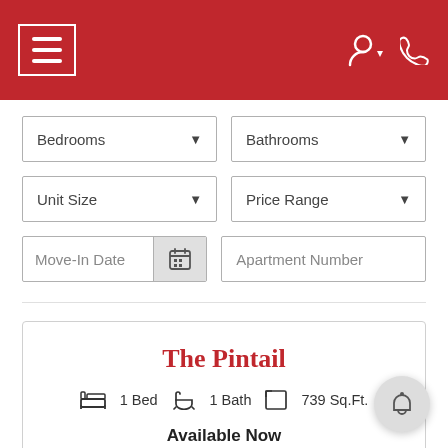Navigation header with hamburger menu and user/phone icons
Bedrooms ▼
Bathrooms ▼
Unit Size ▼
Price Range ▼
Move-In Date
Apartment Number
The Pintail
1 Bed  1 Bath  739 Sq.Ft.
Available Now